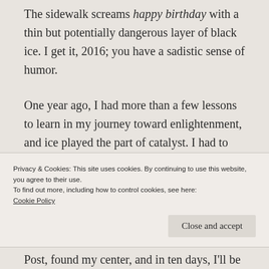The sidewalk screams happy birthday with a thin but potentially dangerous layer of black ice. I get it, 2016; you have a sadistic sense of humor.
One year ago, I had more than a few lessons to learn in my journey toward enlightenment, and ice played the part of catalyst. I had to experience trauma so I could let in the light. Elective surgery, emergency surgery, three months in a wheelchair, a year of physical
Privacy & Cookies: This site uses cookies. By continuing to use this website, you agree to their use.
To find out more, including how to control cookies, see here:
Cookie Policy
Close and accept
Post, found my center, and in ten days, I'll be